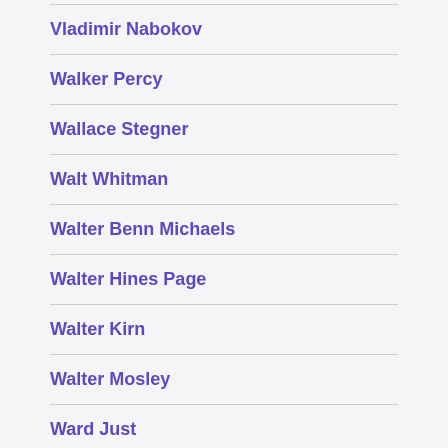Vladimir Nabokov
Walker Percy
Wallace Stegner
Walt Whitman
Walter Benn Michaels
Walter Hines Page
Walter Kirn
Walter Mosley
Ward Just